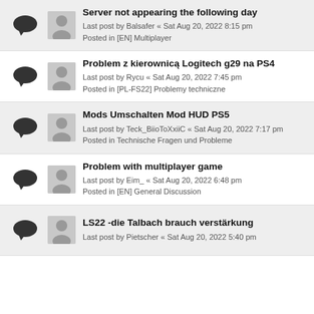Server not appearing the following day
Last post by Balsafer « Sat Aug 20, 2022 8:15 pm
Posted in [EN] Multiplayer
Problem z kierownicą Logitech g29 na PS4
Last post by Rycu « Sat Aug 20, 2022 7:45 pm
Posted in [PL-FS22] Problemy techniczne
Mods Umschalten Mod HUD PS5
Last post by Teck_BiioToXxiiC « Sat Aug 20, 2022 7:17 pm
Posted in Technische Fragen und Probleme
Problem with multiplayer game
Last post by Eim_ « Sat Aug 20, 2022 6:48 pm
Posted in [EN] General Discussion
LS22 -die Talbach brauch verstärkung
Last post by Pietscher « Sat Aug 20, 2022 5:40 pm